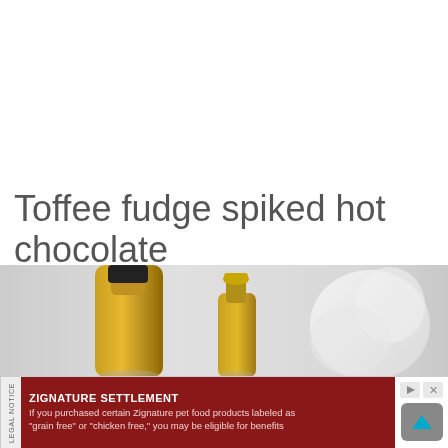Toffee fudge spiked hot chocolate
[Figure (photo): Photo of two bottles of golden/amber liqueur — one large bottle with a black cap and one small miniature bottle with a gold cap — against a light grey background, with a blurred cream/whipped topping in the background right.]
ZIGNATURE SETTLEMENT
If you purchased certain Zignature pet food products labeled as "grain free" or "chicken free," you may be eligible for benefits